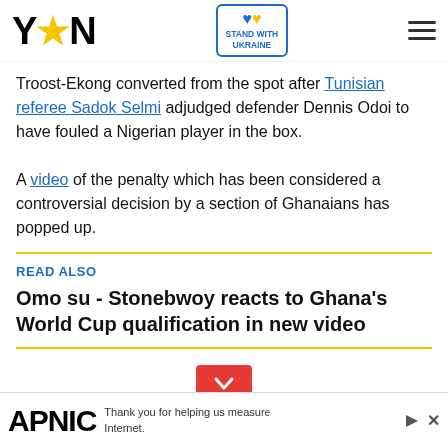YEN | STAND WITH UKRAINE
Troost-Ekong converted from the spot after Tunisian referee Sadok Selmi adjudged defender Dennis Odoi to have fouled a Nigerian player in the box.

A video of the penalty which has been considered a controversial decision by a section of Ghanaians has popped up.
READ ALSO
Omo su - Stonebwoy reacts to Ghana's World Cup qualification in new video
[Figure (other): Red chevron/down arrow button]
APNIC - Thank you for helping us measure the Internet.